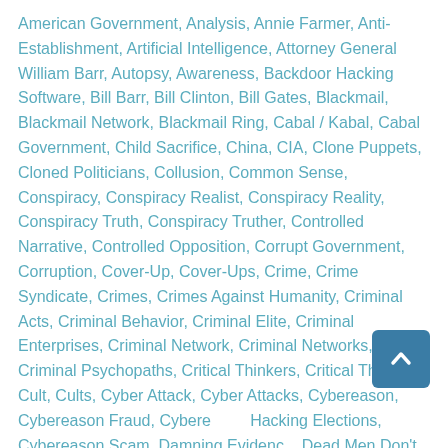American Government, Analysis, Annie Farmer, Anti-Establishment, Artificial Intelligence, Attorney General William Barr, Autopsy, Awareness, Backdoor Hacking Software, Bill Barr, Bill Clinton, Bill Gates, Blackmail, Blackmail Network, Blackmail Ring, Cabal / Kabal, Cabal Government, Child Sacrifice, China, CIA, Clone Puppets, Cloned Politicians, Collusion, Common Sense, Conspiracy, Conspiracy Realist, Conspiracy Reality, Conspiracy Truth, Conspiracy Truther, Controlled Narrative, Controlled Opposition, Corrupt Government, Corruption, Cover-Up, Cover-Ups, Crime, Crime Syndicate, Crimes, Crimes Against Humanity, Criminal Acts, Criminal Behavior, Criminal Elite, Criminal Enterprises, Criminal Network, Criminal Networks, Criminal Psychopaths, Critical Thinkers, Critical Thinking, Cult, Cults, Cyber Attack, Cyber Attacks, Cybereason, Cybereason Fraud, Cybereason Hacking Elections, Cybereason Scam, Damning Evidence, Dead Men Don't Talk, Deception Narratives, Deep State, Deep State Criminals, Deep State Government, Democrat / Republican, Deprogramming The Matrix, Discernment